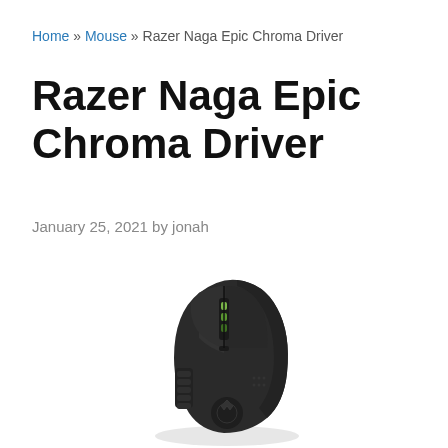Home » Mouse » Razer Naga Epic Chroma Driver
Razer Naga Epic Chroma Driver
January 25, 2021 by jonah
[Figure (photo): Razer Naga Epic Chroma gaming mouse, black with green scroll wheel accent, shown from a top-left angle with side buttons visible]